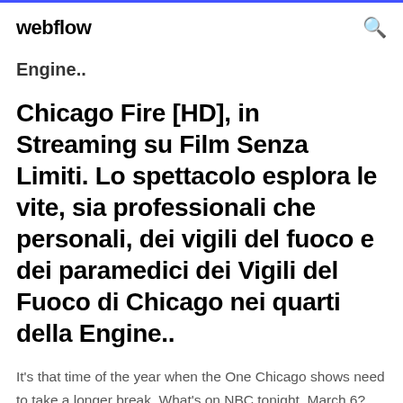webflow
Engine..
Chicago Fire [HD], in Streaming su Film Senza Limiti. Lo spettacolo esplora le vite, sia professionali che personali, dei vigili del fuoco e dei paramedici dei Vigili del Fuoco di Chicago nei quarti della Engine..
It's that time of the year when the One Chicago shows need to take a longer break. What's on NBC tonight, March 6? Will you get any episode of Chicago Fire, Video of Chicago on 8-17 Or...